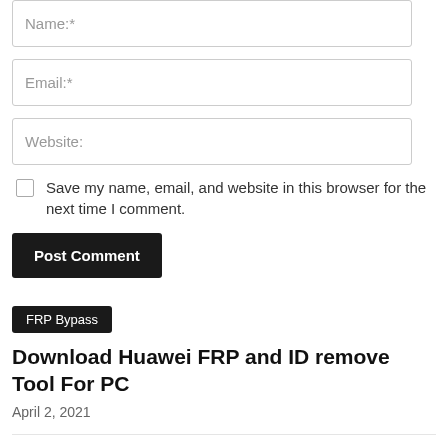Name:*
Email:*
Website:
Save my name, email, and website in this browser for the next time I comment.
Post Comment
FRP Bypass
Download Huawei FRP and ID remove Tool For PC
April 2, 2021
Download Huawei Info Unlock Tool 2021 for Windows